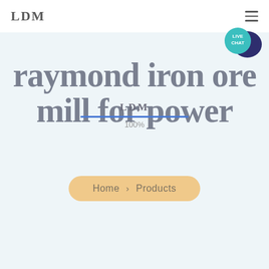[Figure (logo): LDM logo text in top-left header]
[Figure (infographic): Hamburger menu icon (three horizontal lines) in top-right corner]
[Figure (infographic): Live Chat speech bubble icon with teal circle and dark blue chat bubble, labeled LIVE CHAT]
raymond iron ore mill for power
[Figure (infographic): LDM label with blue horizontal progress bar and 100% label overlaid on the title text]
Home > Products